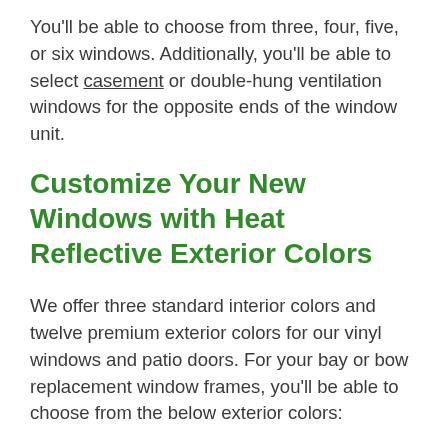You'll be able to choose from three, four, five, or six windows. Additionally, you'll be able to select casement or double-hung ventilation windows for the opposite ends of the window unit.
Customize Your New Windows with Heat Reflective Exterior Colors
We offer three standard interior colors and twelve premium exterior colors for our vinyl windows and patio doors. For your bay or bow replacement window frames, you'll be able to choose from the below exterior colors: